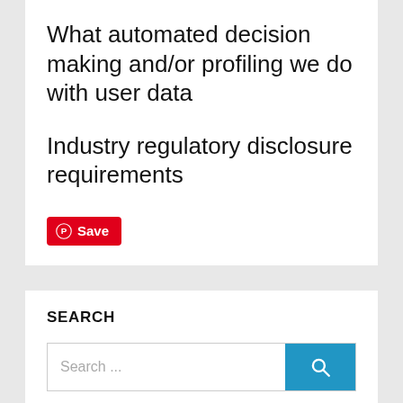What automated decision making and/or profiling we do with user data
Industry regulatory disclosure requirements
[Figure (other): Pinterest Save button with Pinterest logo icon in red]
SEARCH
[Figure (screenshot): Search input box with placeholder text 'Search ...' and a blue search button with magnifying glass icon]